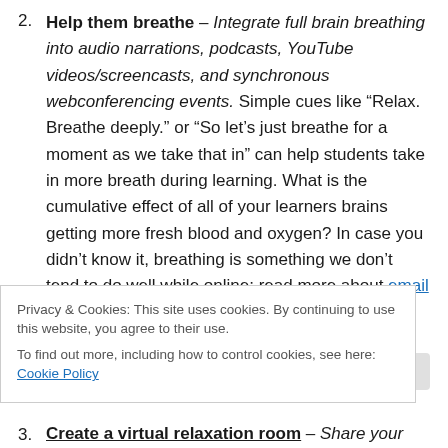Help them breathe – Integrate full brain breathing into audio narrations, podcasts, YouTube videos/screencasts, and synchronous webconferencing events. Simple cues like “Relax. Breathe deeply.” or “So let’s just breathe for a moment as we take that in” can help students take in more breath during learning. What is the cumulative effect of all of your learners brains getting more fresh blood and oxygen? In case you didn’t know it, breathing is something we don’t tend to do well while online: read more about email apnea. Not only does
Privacy & Cookies: This site uses cookies. By continuing to use this website, you agree to their use. To find out more, including how to control cookies, see here: Cookie Policy
Create a virtual relaxation room – Share your